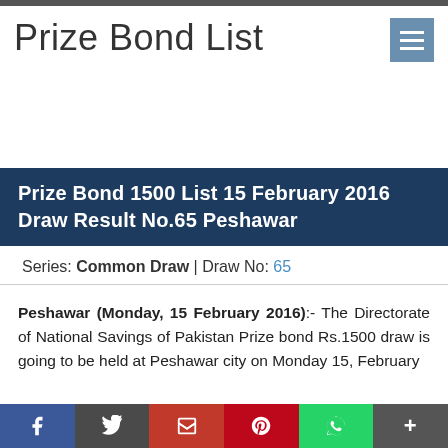Prize Bond List
Prize Bond 1500 List 15 February 2016 Draw Result No.65 Peshawar
Series: Common Draw | Draw No: 65
Peshawar (Monday, 15 February 2016):- The Directorate of National Savings of Pakistan Prize bond Rs.1500 draw is going to be held at Peshawar city on Monday 15, February